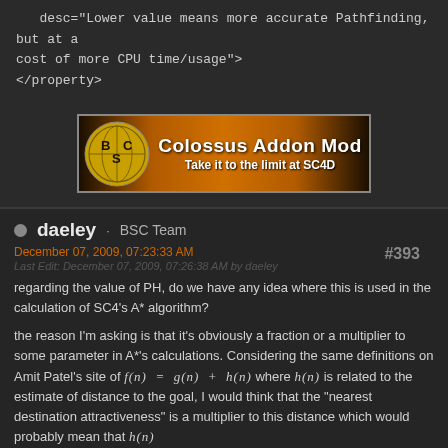desc="Lower value means more accurate Pathfinding, but at a cost of more CPU time/usage">
</property>
[Figure (illustration): Colossus Addon Mod banner — BSC logo on left, text reads 'Colossus Addon Mod / Take it to the limit at SC4D' on orange-brown gradient background]
daeley · BSC Team
December 07, 2009, 07:23:33 AM
Last Edit: December 07, 2009, 07:26:38 AM by daeley
#393
regarding the value of PH, do we have any idea where this is used in the calculation of SC4's A* algorithm?
the reason I'm asking is that it's obviously a fraction or a multiplier to some parameter in A*'s calculations. Considering the same definitions on Amit Patel's site of f(n) = g(n) + h(n) where h(n) is related to the estimate of distance to the goal, I would think that the "nearest destination attractiveness" is a multiplier to this distance which would probably mean that h(n)